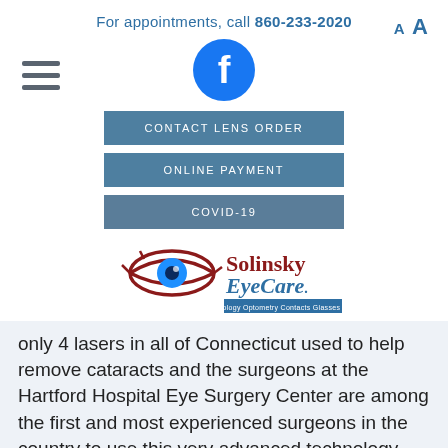For appointments, call 860-233-2020  A A
[Figure (logo): Facebook icon - blue circle with white f]
[Figure (other): Hamburger menu icon - three horizontal lines]
[Figure (other): CONTACT LENS ORDER button]
[Figure (other): ONLINE PAYMENT button]
[Figure (other): COVID-19 button]
[Figure (logo): Solinsky EyeCare logo with eye graphic and tagline: Ophthalmology Optometry Contacts Glasses & Hearing]
only 4 lasers in all of Connecticut used to help remove cataracts and the surgeons at the Hartford Hospital Eye Surgery Center are among the first and most experienced surgeons in the country to use this very advanced technology. These lasers allow for a safer, more precise surgery and reduce both a patient's recovery time and need for